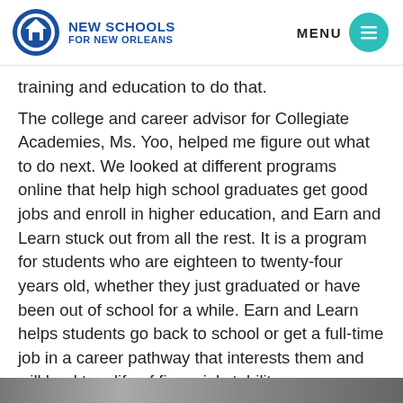NEW SCHOOLS FOR NEW ORLEANS
training and education to do that.
The college and career advisor for Collegiate Academies, Ms. Yoo, helped me figure out what to do next. We looked at different programs online that help high school graduates get good jobs and enroll in higher education, and Earn and Learn stuck out from all the rest. It is a program for students who are eighteen to twenty-four years old, whether they just graduated or have been out of school for a while. Earn and Learn helps students go back to school or get a full-time job in a career pathway that interests them and will lead to a life of financial stability.
[Figure (photo): Partial photo strip at the bottom of the page]